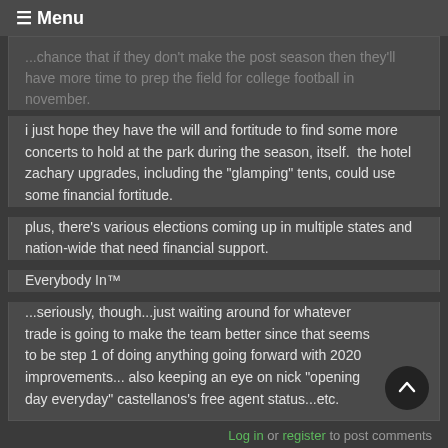≡ Menu
...chance that if they don't make the post season then they'll have more time to prep the field for college football in november.
i just hope they have the will and fortitude to find some more concerts to hold at the park during the season, itself.  the hotel zachary upgrades, including the "glamping" tents, could use some financial fortitude.
plus, there's various elections coming up in multiple states and nation-wide that need financial support.
Everybody In™
...seriously, though...just waiting around for whatever trade is going to make the team better since that seems to be step 1 of doing anything going forward with 2020 improvements... also keeping an eye on nick "opening day everyday" castellanos's free agent status...etc.
Log in or register to post comments
The Cubs officially filed The